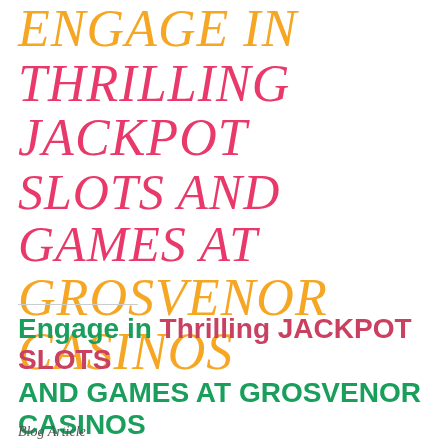ENGAGE IN THRILLING JACKPOT SLOTS AND GAMES AT GROSVENOR CASINOS
Engage in Thrilling JACKPOT SLOTS AND GAMES AT GROSVENOR CASINOS
Blog Article